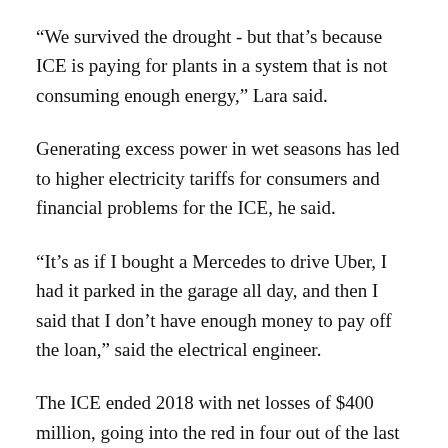“We survived the drought - but that’s because ICE is paying for plants in a system that is not consuming enough energy,” Lara said.
Generating excess power in wet seasons has led to higher electricity tariffs for consumers and financial problems for the ICE, he said.
“It’s as if I bought a Mercedes to drive Uber, I had it parked in the garage all day, and then I said that I don’t have enough money to pay off the loan,” said the electrical engineer.
The ICE ended 2018 with net losses of $400 million, going into the red in four out of the last five years, with its debt reaching almost $6 billion.